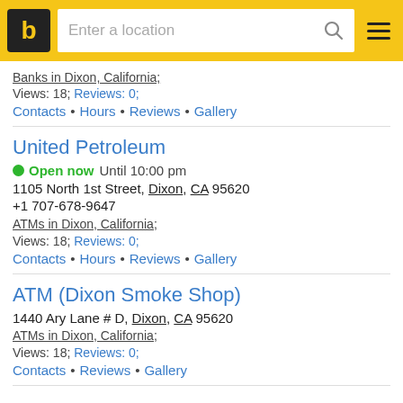b | Enter a location [search] [menu]
Banks in Dixon, California;
Views: 18; Reviews: 0;
Contacts • Hours • Reviews • Gallery
United Petroleum
Open now   Until 10:00 pm
1105 North 1st Street, Dixon, CA 95620
+1 707-678-9647
ATMs in Dixon, California;
Views: 18; Reviews: 0;
Contacts • Hours • Reviews • Gallery
ATM (Dixon Smoke Shop)
1440 Ary Lane # D, Dixon, CA 95620
ATMs in Dixon, California;
Views: 18; Reviews: 0;
Contacts • Reviews • Gallery